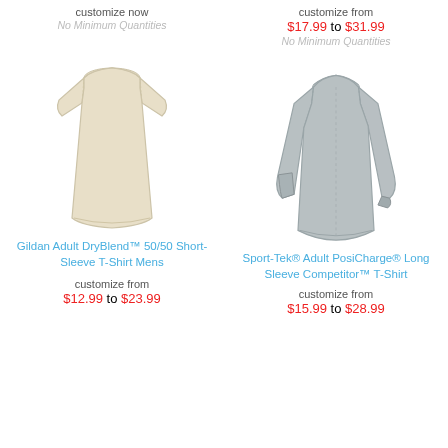customize now
No Minimum Quantities
[Figure (illustration): Cream/natural colored short-sleeve t-shirt product photo]
Gildan Adult DryBlend™ 50/50 Short-Sleeve T-Shirt Mens
customize from
$12.99 to $23.99
customize from
$17.99 to $31.99
No Minimum Quantities
[Figure (illustration): Gray long-sleeve sport performance t-shirt product photo]
Sport-Tek® Adult PosiCharge® Long Sleeve Competitor™ T-Shirt
customize from
$15.99 to $28.99